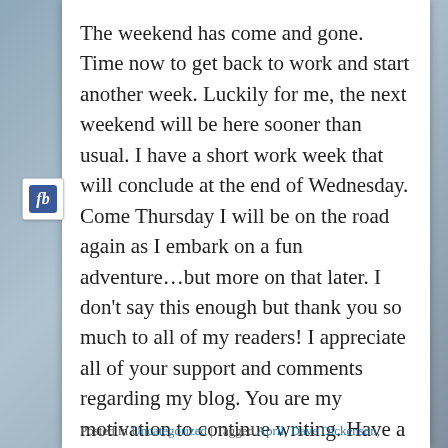The weekend has come and gone. Time now to get back to work and start another week. Luckily for me, the next weekend will be here sooner than usual. I have a short work week that will conclude at the end of Wednesday. Come Thursday I will be on the road again as I embark on a fun adventure…but more on that later. I don't say this enough but thank you so much to all of my readers! I appreciate all of your support and comments regarding my blog. You are my motivation to continue writing. Have a great week everyone! Don't Blink.
Posted in Uncategorized | Tagged April, Dave Dickenson,